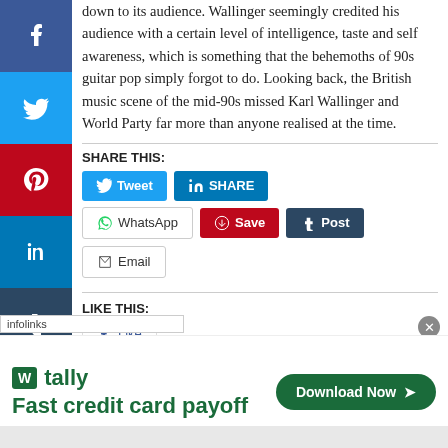down to its audience. Wallinger seemingly credited his audience with a certain level of intelligence, taste and self awareness, which is something that the behemoths of 90s guitar pop simply forgot to do. Looking back, the British music scene of the mid-90s missed Karl Wallinger and World Party far more than anyone realised at the time.
SHARE THIS:
Tweet | SHARE | WhatsApp | Save | Post | Email
LIKE THIS:
[Figure (screenshot): infolinks label bar at bottom left]
[Figure (screenshot): Tally advertisement banner: Fast credit card payoff with Download Now button]